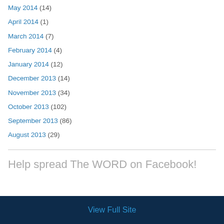May 2014 (14)
April 2014 (1)
March 2014 (7)
February 2014 (4)
January 2014 (12)
December 2013 (14)
November 2013 (34)
October 2013 (102)
September 2013 (86)
August 2013 (29)
Help spread The WORD on Facebook!
View Full Site